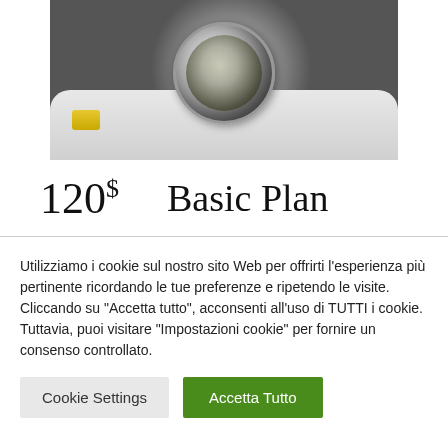[Figure (photo): Astronaut in a white spacesuit with reflective helmet visor, shown from above during a spacewalk. The visor reflects the space station interior. A yellow shoulder patch is visible on the left arm.]
120$ Basic Plan
Utilizziamo i cookie sul nostro sito Web per offrirti l'esperienza più pertinente ricordando le tue preferenze e ripetendo le visite. Cliccando su "Accetta tutto", acconsenti all'uso di TUTTI i cookie. Tuttavia, puoi visitare "Impostazioni cookie" per fornire un consenso controllato.
Cookie Settings
Accetta Tutto